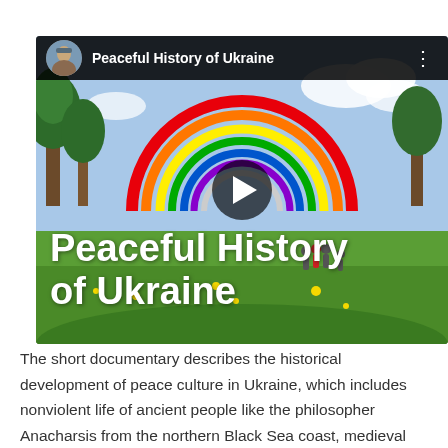[Figure (screenshot): YouTube-style video thumbnail showing a rainbow arch monument in a green park in Ukraine with people walking nearby. A video player overlay with a play button is visible in the center. The top bar shows a circular avatar, the title 'Peaceful History of Ukraine', and a three-dot menu. Large white bold text overlaid on the image reads 'Peaceful History of Ukraine'.]
The short documentary describes the historical development of peace culture in Ukraine, which includes nonviolent life of ancient people like the philosopher Anacharsis from the northern Black Sea coast, medieval